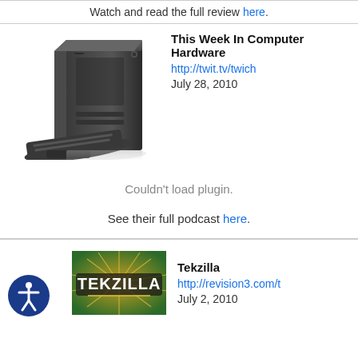Watch and read the full review here.
[Figure (photo): Desktop computer tower with keyboard in front on white background]
This Week In Computer Hardware
http://twit.tv/twich
July 28, 2010
Couldn't load plugin.
See their full podcast here.
[Figure (logo): Tekzilla logo on green background with sunburst]
Tekzilla
http://revision3.com/t
July 2, 2010